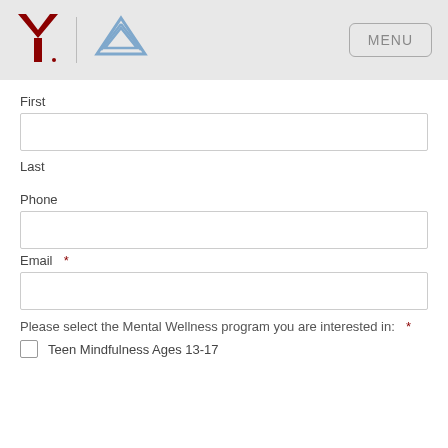[Figure (logo): YMCA red Y logo and a blue triangular Move logo side by side in a grey header bar, with a MENU button on the right]
First
Last
Phone
Email  *
Please select the Mental Wellness program you are interested in:  *
Teen Mindfulness Ages 13-17